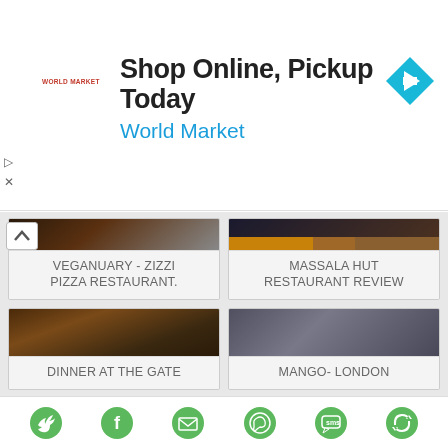[Figure (screenshot): Advertisement banner: Shop Online, Pickup Today - World Market with logo and navigation arrow icon]
[Figure (photo): Veganuary - Zizzi Pizza Restaurant card with dark restaurant interior photos]
VEGANUARY - ZIZZI PIZZA RESTAURANT.
[Figure (photo): Massala Hut Restaurant Review card with food photos including drinks and dishes]
MASSALA HUT RESTAURANT REVIEW
[Figure (photo): Dinner at The Gate card with restaurant interior photo]
DINNER AT THE GATE
[Figure (photo): Mango London card with restaurant exterior storefront photo]
MANGO- LONDON
[Figure (infographic): Share bar with social media icons: Twitter, Facebook, Email, WhatsApp, SMS, Share]